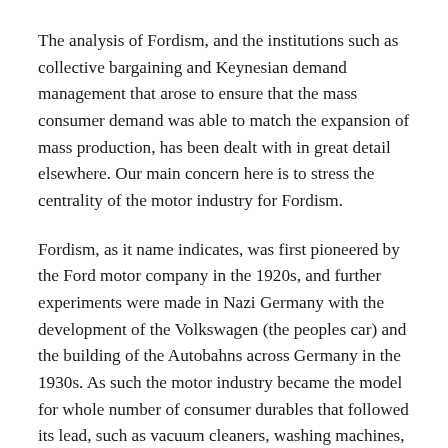The analysis of Fordism, and the institutions such as collective bargaining and Keynesian demand management that arose to ensure that the mass consumer demand was able to match the expansion of mass production, has been dealt with in great detail elsewhere. Our main concern here is to stress the centrality of the motor industry for Fordism.
Fordism, as it name indicates, was first pioneered by the Ford motor company in the 1920s, and further experiments were made in Nazi Germany with the development of the Volkswagen (the peoples car) and the building of the Autobahns across Germany in the 1930s. As such the motor industry became the model for whole number of consumer durables that followed its lead, such as vacuum cleaners, washing machines,